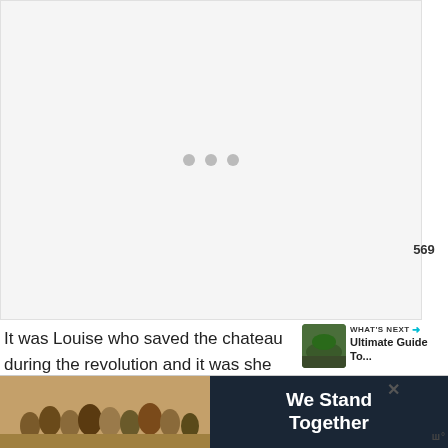[Figure (photo): Loading placeholder with three grey dots centered on a light grey background]
[Figure (other): Heart/like button (teal circle with white heart icon), count 569, and share button]
It was Louise who saved the chateau during the revolution and it was she who removed the x on chateau.
Louise died in 1700 and you can see her grave on the left ba...
[Figure (other): WHAT'S NEXT arrow label with thumbnail of landscape and title 'Ultimate Guide To...']
[Figure (other): Advertisement banner: group of people photo with 'We Stand Together' text and close button]